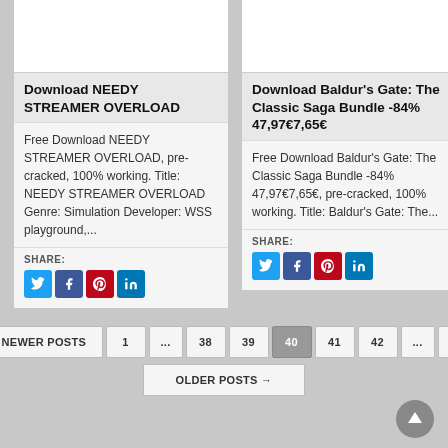Download NEEDY STREAMER OVERLOAD
Free Download NEEDY STREAMER OVERLOAD, pre-cracked, 100% working. Title: NEEDY STREAMER OVERLOAD Genre: Simulation Developer: WSS playground,...
SHARE:
Download Baldur's Gate: The Classic Saga Bundle -84% 47,97€7,65€
Free Download Baldur's Gate: The Classic Saga Bundle -84% 47,97€7,65€, pre-cracked, 100% working. Title: Baldur's Gate: The...
SHARE:
← NEWER POSTS
1
...
38
39
40
41
42
...
52
OLDER POSTS →